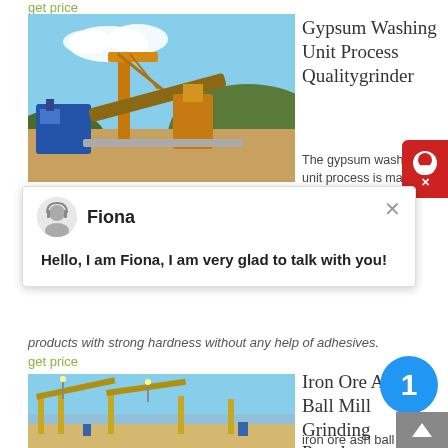get price
[Figure (photo): Industrial mining/crushing plant with orange conveyor and blue machinery]
Gypsum Washing Unit Process Qualitygrinder
The gypsum washing unit process is ma...
[Figure (screenshot): Live chat widget overlay with avatar of Fiona]
Hello, I am Fiona, I am very glad to talk with you!
products with strong hardness without any help of adhesives.
get price
[Figure (photo): Industrial conveyor belt system at a mining site]
Iron Ore Ash Ball Mill Grinding Powder Production Line
iron ore ash ball mill